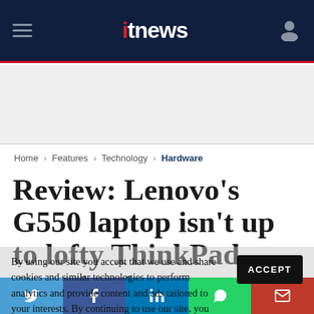itnews
Home  >  Features  >  Technology  >  Hardware
Review: Lenovo's G550 laptop isn't up to lofty ThinkPad Standards
By using our site you accept that we use and share cookies and similar technologies to perform analytics and provide content and ads tailored to your interests. By continuing to use our site, you consent to this. Please see our Cookie Policy for more information.